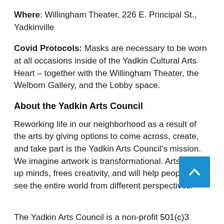Where: Willingham Theater, 226 E. Principal St., Yadkinville
Covid Protocols: Masks are necessary to be worn at all occasions inside of the Yadkin Cultural Arts Heart – together with the Willingham Theater, the Welborn Gallery, and the Lobby space.
About the Yadkin Arts Council
Reworking life in our neighborhood as a result of the arts by giving options to come across, create, and take part is the Yadkin Arts Council's mission. We imagine artwork is transformational. Arts open up minds, frees creativity, and will help people today see the entire world from different perspectives.
The Yadkin Arts Council is a non-profit 501(c)3